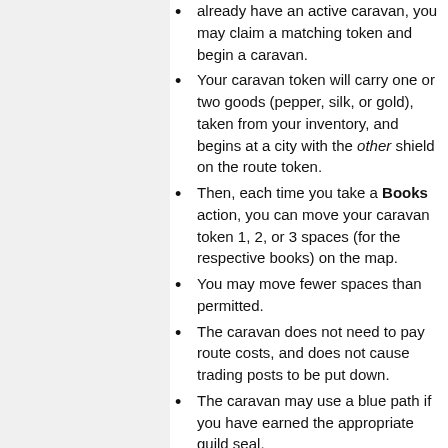already have an active caravan, you may claim a matching token and begin a caravan.
Your caravan token will carry one or two goods (pepper, silk, or gold), taken from your inventory, and begins at a city with the other shield on the route token.
Then, each time you take a Books action, you can move your caravan token 1, 2, or 3 spaces (for the respective books) on the map.
You may move fewer spaces than permitted.
The caravan does not need to pay route costs, and does not cause trading posts to be put down.
The caravan may use a blue path if you have earned the appropriate guild seal.